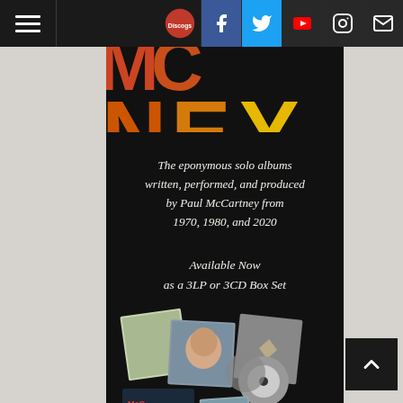Navigation bar with hamburger menu and social icons: Discogs, Facebook, Twitter, YouTube, Instagram, Email
[Figure (illustration): Partial large colorful title text 'McCARTNEY' in bold red-orange-yellow gradient letters, cropped at top]
The eponymous solo albums written, performed, and produced by Paul McCartney from 1970, 1980, and 2020
Available Now as a 3LP or 3CD Box Set
[Figure (photo): Product photo showing McCartney box set albums and CDs scattered: album covers, photos, and CD discs]